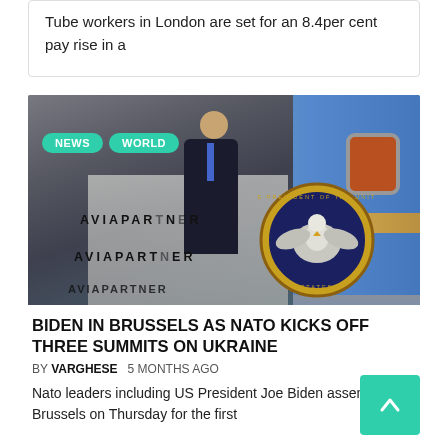Tube workers in London are set for an 8.4per cent pay rise in a
[Figure (photo): Photo of a person in a dark suit descending airplane stairs with 'AVIAPARTNER' text visible on steps and the Presidential Seal of the United States visible, along with a blue airplane body. NEWS and WORLD tags overlay the image.]
BIDEN IN BRUSSELS AS NATO KICKS OFF THREE SUMMITS ON UKRAINE
BY VARGHESE   5 MONTHS AGO
Nato leaders including US President Joe Biden assembled Brussels on Thursday for the first